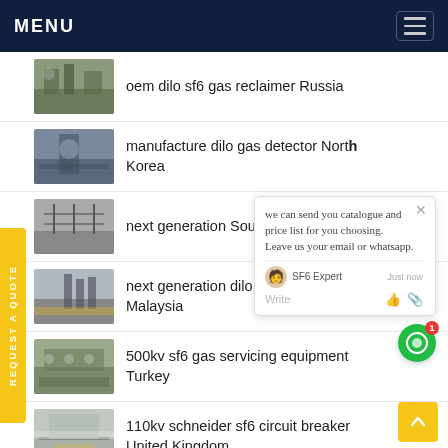MENU
oem dilo sf6 gas reclaimer Russia
manufacture dilo gas detector North Korea
next generation South A...
next generation dilo sf6 s... Malaysia
500kv sf6 gas servicing equipment Turkey
110kv schneider sf6 circuit breaker United Kingdom